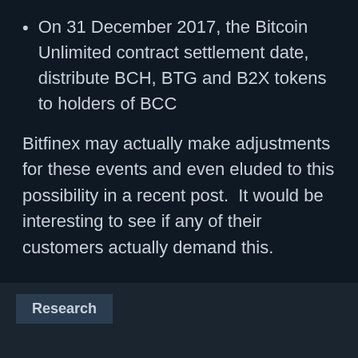On 31 December 2017, the Bitcoin Unlimited contract settlement date, distribute BCH, BTG and B2X tokens to holders of BCC
Bitfinex may actually make adjustments for these events and even eluded to this possibility in a recent post.  It would be interesting to see if any of their customers actually demand this.
TAGS  Bitfinex  tokens
Research